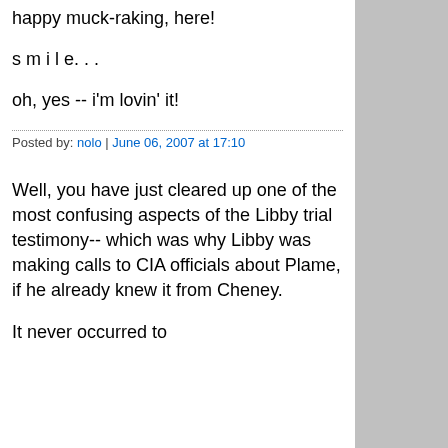happy muck-raking, here!
s m i l e. . .
oh, yes -- i'm lovin' it!
Posted by: nolo | June 06, 2007 at 17:10
Well, you have just cleared up one of the most confusing aspects of the Libby trial testimony-- which was why Libby was making calls to CIA officials about Plame, if he already knew it from Cheney.
It never occurred to